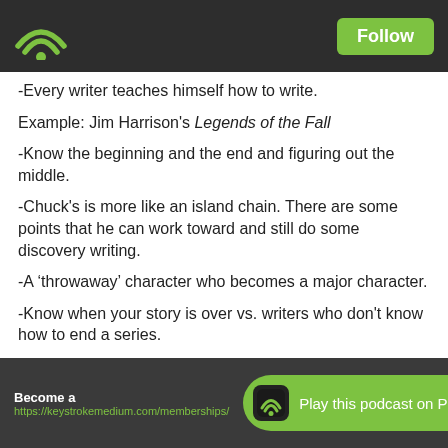Follow
-Every writer teaches himself how to write.
Example: Jim Harrison's Legends of the Fall
-Know the beginning and the end and figuring out the middle.
-Chuck's is more like an island chain. There are some points that he can work toward and still do some discovery writing.
-A ‘throwaway’ character who becomes a major character.
-Know when your story is over vs. writers who don't know how to end a series.
[1:03:43] Closing remarks
Coffee and Concepts
Writer’s Journey
Storytelling
Become a ... Play this podcast on Podbean App https://keystrokemedium.com/memberships/